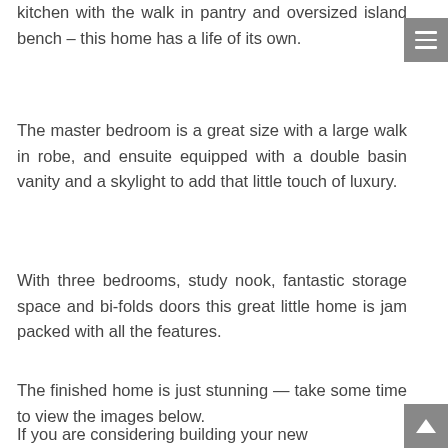kitchen with the walk in pantry and oversized island bench – this home has a life of its own.
The master bedroom is a great size with a large walk in robe, and ensuite equipped with a double basin vanity and a skylight to add that little touch of luxury.
With three bedrooms, study nook, fantastic storage space and bi-folds doors this great little home is jam packed with all the features.
The finished home is just stunning — take some time to view the images below.
If you are considering building your new